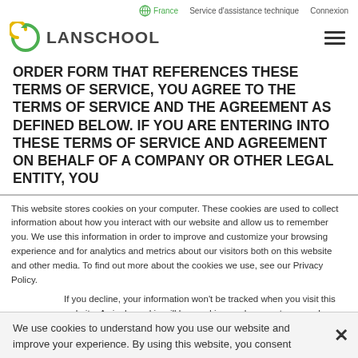France  Service d'assistance technique  Connexion
[Figure (logo): LanSchool logo with circular arrow icon and text LANSCHOOL, plus hamburger menu icon on right]
ORDER FORM THAT REFERENCES THESE TERMS OF SERVICE, YOU AGREE TO THE TERMS OF SERVICE AND THE AGREEMENT AS DEFINED BELOW. IF YOU ARE ENTERING INTO THESE TERMS OF SERVICE AND AGREEMENT ON BEHALF OF A COMPANY OR OTHER LEGAL ENTITY, YOU
This website stores cookies on your computer. These cookies are used to collect information about how you interact with our website and allow us to remember you. We use this information in order to improve and customize your browsing experience and for analytics and metrics about our visitors both on this website and other media. To find out more about the cookies we use, see our Privacy Policy.
If you decline, your information won't be tracked when you visit this website. A single cookie will be used in your browser to remember your preference not to be tracked.
We use cookies to understand how you use our website and improve your experience. By using this website, you consent